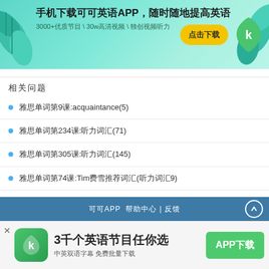[Figure (infographic): 可可英语APP广告横幅，绿色背景，包含叶子装饰，主标题：手机下载可可英语APP，随时随地提高英语，副标题：3000+优质节目、30w高清视频、独创视频听力，黄色按钮：点击下载，右侧有可可英语logo]
相关问题
雅思单词第9课:acquaintance(5)
雅思单词第234课:听力词汇(71)
雅思单词第305课:听力词汇(145)
雅思单词第74课:Tim费雪推荐词汇(听力词汇9)
可可APP 帮助中心 | 反馈
[Figure (infographic): 可可英语APP下载条幅，显示：3千个英语节目任你选，中英双语字幕 免费批量下载，绿色APP下载按钮]